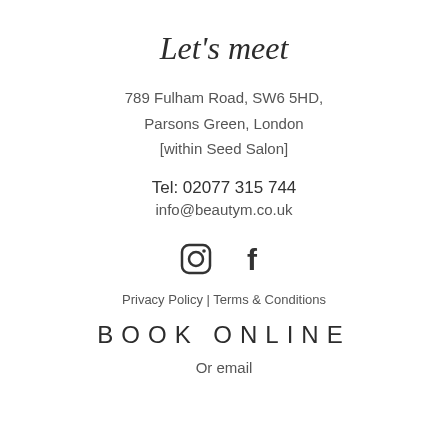Let's meet
789 Fulham Road, SW6 5HD,
Parsons Green, London
[within Seed Salon]
Tel: 02077 315 744
info@beautym.co.uk
[Figure (illustration): Instagram and Facebook social media icons]
Privacy Policy | Terms & Conditions
BOOK ONLINE
Or email